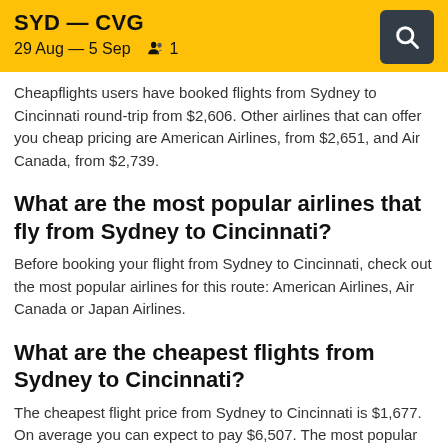SYD — CVG
29 Aug — 5 Sep   1
Cheapflights users have booked flights from Sydney to Cincinnati round-trip from $2,606. Other airlines that can offer you cheap pricing are American Airlines, from $2,651, and Air Canada, from $2,739.
What are the most popular airlines that fly from Sydney to Cincinnati?
Before booking your flight from Sydney to Cincinnati, check out the most popular airlines for this route: American Airlines, Air Canada or Japan Airlines.
What are the cheapest flights from Sydney to Cincinnati?
The cheapest flight price from Sydney to Cincinnati is $1,677. On average you can expect to pay $6,507. The most popular route, (Sydney Kingsford Smith - Cincinnati Cinci./N. Kentucky), can usually be booked for $3,171.